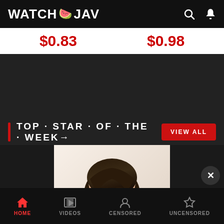WATCH 🍉 JAV
$0.83   $0.98
TOP · STAR · OF · THE · WEEK→
[Figure (photo): Portrait photo of a young Asian woman with dark bangs, wearing a white halter top, posed against a light background]
HOME   VIDEOS   CENSORED   UNCENSORED